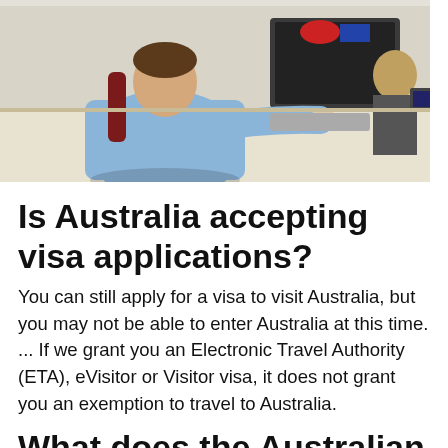[Figure (photo): A person in a light blue shirt sitting at a desk using a computer keyboard, viewed from behind/side. Another person is visible in the background on the right side of the image, also at a desk. Office environment.]
Is Australia accepting visa applications?
You can still apply for a visa to visit Australia, but you may not be able to enter Australia at this time. ... If we grant you an Electronic Travel Authority (ETA), eVisitor or Visitor visa, it does not grant you an exemption to travel to Australia.
What does the Australian embassy do?